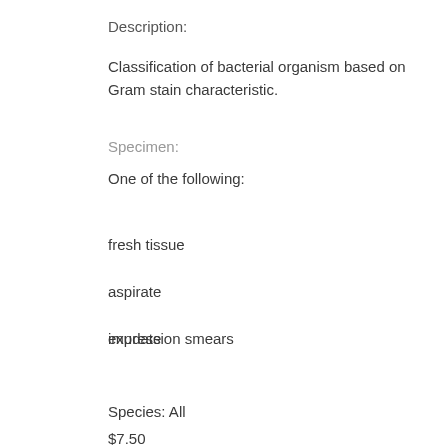Description:
Classification of bacterial organism based on Gram stain characteristic.
Specimen:
One of the following:
fresh tissue
aspirate
exudate
impression smears
Species: All
$7.50
Details